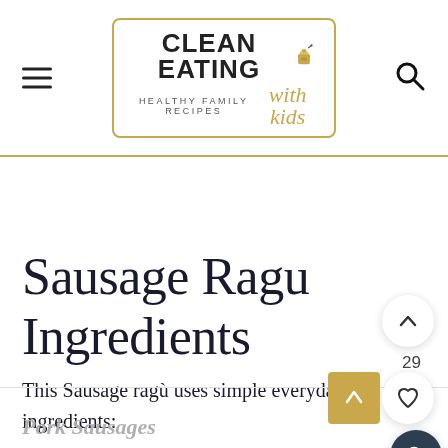CLEAN EATING with kids — HEALTHY FAMILY RECIPES
Sausage Ragu Ingredients
This Sausage ragù uses simple everyday ingredients:
Pork Sausages